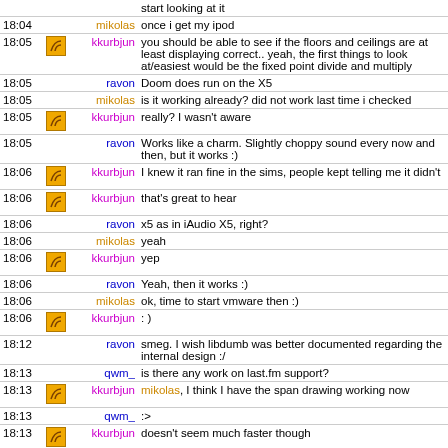| Time | Icon | Nick | Message |
| --- | --- | --- | --- |
|  |  |  | start looking at it |
| 18:04 |  | mikolas | once i get my ipod |
| 18:05 | icon | kkurbjun | you should be able to see if the floors and ceilings are at least displaying correct.. yeah, the first things to look at/easiest would be the fixed point divide and multiply |
| 18:05 |  | ravon | Doom does run on the X5 |
| 18:05 |  | mikolas | is it working already? did not work last time i checked |
| 18:05 | icon | kkurbjun | really? I wasn't aware |
| 18:05 |  | ravon | Works like a charm. Slightly choppy sound every now and then, but it works :) |
| 18:06 | icon | kkurbjun | I knew it ran fine in the sims, people kept telling me it didn't |
| 18:06 | icon | kkurbjun | that's great to hear |
| 18:06 |  | ravon | x5 as in iAudio X5, right? |
| 18:06 |  | mikolas | yeah |
| 18:06 | icon | kkurbjun | yep |
| 18:06 |  | ravon | Yeah, then it works :) |
| 18:06 |  | mikolas | ok, time to start vmware then :) |
| 18:06 | icon | kkurbjun | : ) |
| 18:12 |  | ravon | smeg. I wish libdumb was better documented regarding the internal design :/ |
| 18:13 |  | qwm_ | is there any work on last.fm support? |
| 18:13 | icon | kkurbjun | mikolas, I think I have the span drawing working now |
| 18:13 |  | qwm_ | :> |
| 18:13 | icon | kkurbjun | doesn't seem much faster though |
| 18:13 | icon | kkurbjun | I think the column drawing will have more room for |